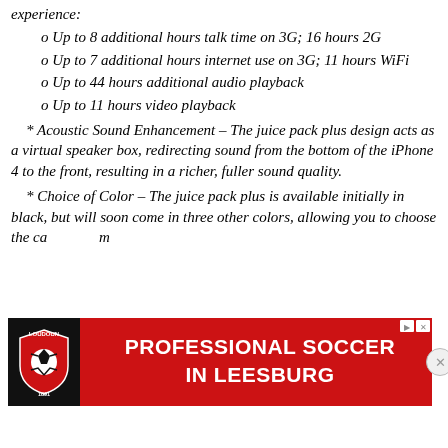experience:
o Up to 8 additional hours talk time on 3G; 16 hours 2G
o Up to 7 additional hours internet use on 3G; 11 hours WiFi
o Up to 44 hours additional audio playback
o Up to 11 hours video playback
* Acoustic Sound Enhancement – The juice pack plus design acts as a virtual speaker box, redirecting sound from the bottom of the iPhone 4 to the front, resulting in a richer, fuller sound quality.
* Choice of Color – The juice pack plus is available initially in black, but will soon come in three other colors, allowing you to choose the case color that best complements or matches your device.
[Figure (infographic): Advertisement banner for Professional Soccer in Leesburg with a red background, soccer club logo on the left, and bold white text reading PROFESSIONAL SOCCER IN LEESBURG]